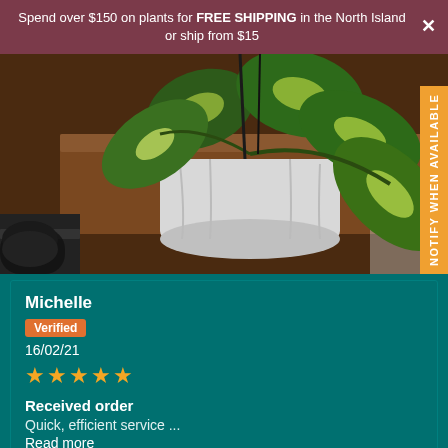Spend over $150 on plants for FREE SHIPPING in the North Island or ship from $15
[Figure (photo): Photo of a variegated pothos plant in a white pot on a wooden surface with dark wicker/rattan items in the background]
Michelle
Verified
16/02/21
★★★★★
Received order
Quick, efficient service ...
Read more
Cheri L